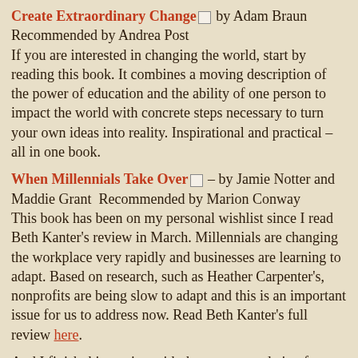Create Extraordinary Change [checkbox] by Adam Braun Recommended by Andrea Post If you are interested in changing the world, start by reading this book. It combines a moving description of the power of education and the ability of one person to impact the world with concrete steps necessary to turn your own ideas into reality. Inspirational and practical – all in one book.
When Millennials Take Over [checkbox] – by Jamie Notter and Maddie Grant Recommended by Marion Conway This book has been on my personal wishlist since I read Beth Kanter's review in March. Millennials are changing the workplace very rapidly and businesses are learning to adapt. Based on research, such as Heather Carpenter's, nonprofits are being slow to adapt and this is an important issue for us to address now. Read Beth Kanter's full review here.
And I finish this section with the recommendation from the incomparable Amy Sample Ward. Amy did not feel confined by the request to recommend specific books that will be of interest to the Nonprofit community. Instead Amy offered this discerning advice: "Here's my wishlist for nonprofit folks:
Read fiction. Read for pleasure. Carry that time